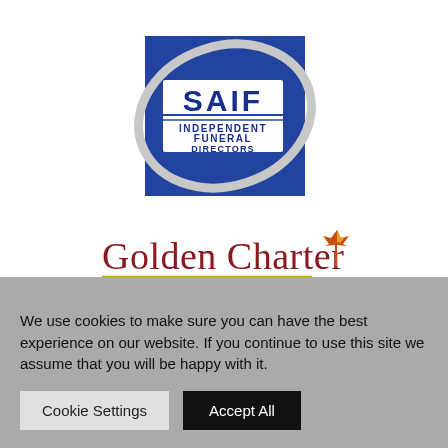[Figure (logo): SAIF Independent Funeral Directors logo — white text on dark blue square background with grey oval swoosh]
[Figure (logo): Golden Charter logo — dark red serif text with gold underline and autumn maple leaf graphic]
[Figure (logo): National Federation logo — red boxes with white N and F letters on grey bar, with white bold text 'National Federation']
We use cookies to make sure you can have the best experience on our website. If you continue to use this site we assume that you will be happy with it.
Cookie Settings  Accept All